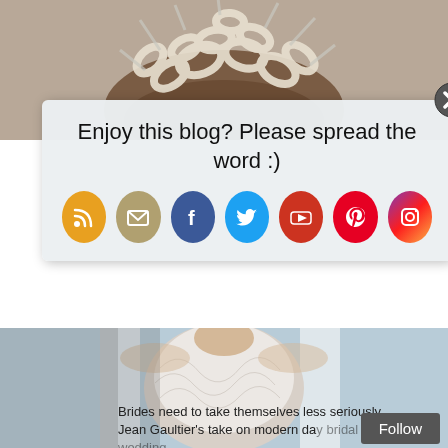[Figure (photo): Top portion of a decorative hair arrangement with brown curls and white ribbon/loops, cropped at top]
Enjoy this blog? Please spread the word :)
[Figure (infographic): Row of social media icon buttons: RSS (orange), Email (tan), Facebook (blue), Twitter (light blue), YouTube (red), Pinterest (red), Instagram (gradient purple-red-orange)]
[Figure (photo): Fashion photo of a bride or model from chest down wearing a white feathered or ruffled corset/bodice with white veil, light blue background]
Brides need to take themselves less seriously. Jean Gaultier's take on modern day bridal wedding...